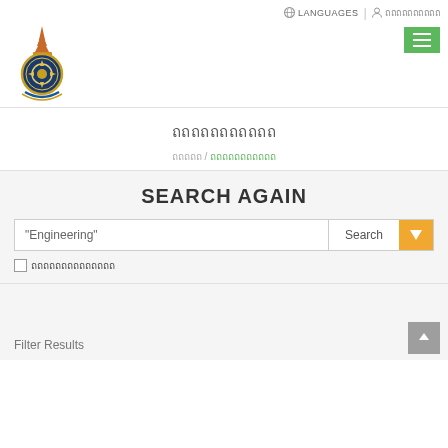[Figure (logo): Thai government emblem/crest logo in orange and gold colors]
LANGUAGES | ถถถถถถถถถถ
ถถถถถถถถถถถ
ถถถถถ / ถถถถถถถถถถถ
SEARCH AGAIN
"Engineering"
Search
ถถถถถถถถถถถถถถ
Filter Results